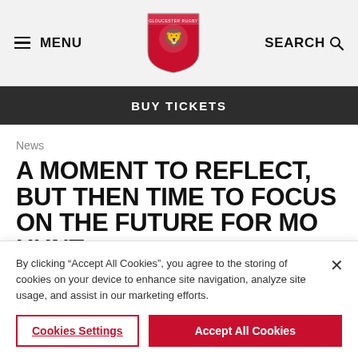MENU | Gloucester Rugby Logo | SEARCH
BUY TICKETS
News
A MOMENT TO REFLECT, BUT THEN TIME TO FOCUS ON THE FUTURE FOR MO HUNT
A moment to reflect, but then time to focus on the
By clicking “Accept All Cookies”, you agree to the storing of cookies on your device to enhance site navigation, analyze site usage, and assist in our marketing efforts.
Cookies Settings | Accept All Cookies